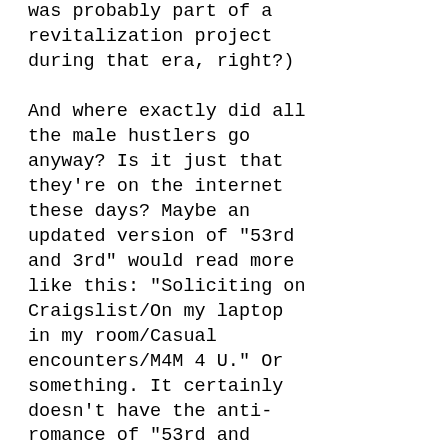was probably part of a revitalization project during that era, right?)

And where exactly did all the male hustlers go anyway? Is it just that they're on the internet these days? Maybe an updated version of "53rd and 3rd" would read more like this: "Soliciting on Craigslist/On my laptop in my room/Casual encounters/M4M 4 U." Or something. It certainly doesn't have the anti-romance of "53rd and